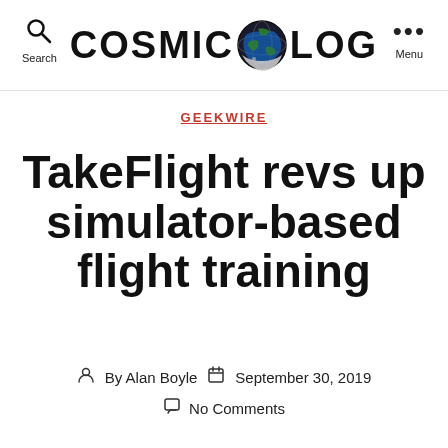COSMIC LOG — Search | Menu
GEEKWIRE
TakeFlight revs up simulator-based flight training
By Alan Boyle   September 30, 2019
No Comments